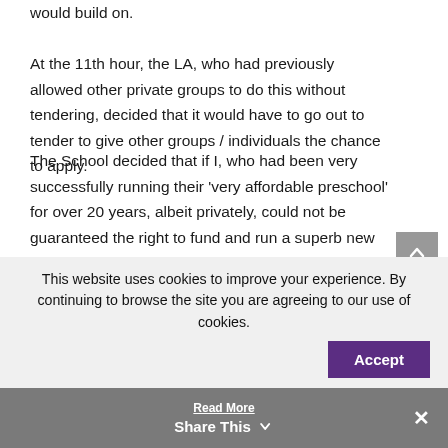would build on.
At the 11th hour, the LA, who had previously allowed other private groups to do this without tendering, decided that it would have to go out to tender to give other groups / individuals the chance to apply.
The School decided that if I, who had been very successfully running their ‘very affordable preschool’ for over 20 years, albeit privately, could not be guaranteed the right to fund and run a superb new facility which would have included after school, holiday and breakfast
This website uses cookies to improve your experience. By continuing to browse the site you are agreeing to our use of cookies.
Accept
Read More
Share This